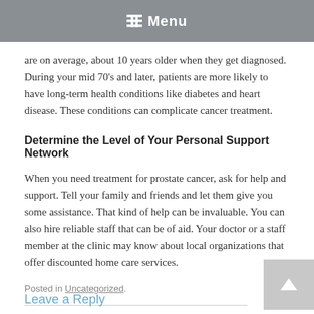Menu
are on average, about 10 years older when they get diagnosed. During your mid 70's and later, patients are more likely to have long-term health conditions like diabetes and heart disease. These conditions can complicate cancer treatment.
Determine the Level of Your Personal Support Network
When you need treatment for prostate cancer, ask for help and support. Tell your family and friends and let them give you some assistance. That kind of help can be invaluable. You can also hire reliable staff that can be of aid. Your doctor or a staff member at the clinic may know about local organizations that offer discounted home care services.
Posted in Uncategorized.
Leave a Reply